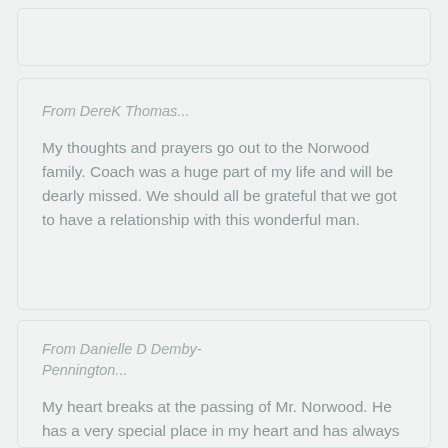From DereK Thomas...
My thoughts and prayers go out to the Norwood family. Coach was a huge part of my life and will be dearly missed. We should all be grateful that we got to have a relationship with this wonderful man.
From Danielle D Demby-Pennington...
My heart breaks at the passing of Mr. Norwood. He has a very special place in my heart and has always treated me like one of his grandchildren. Love you and you will